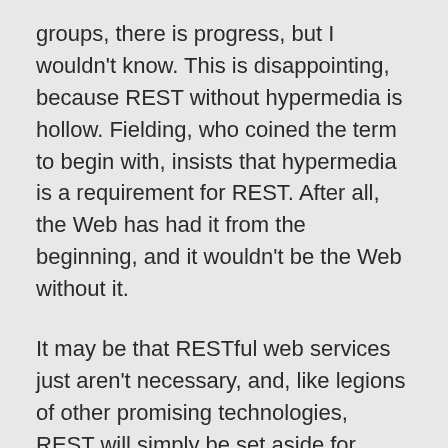groups, there is progress, but I wouldn't know. This is disappointing, because REST without hypermedia is hollow. Fielding, who coined the term to begin with, insists that hypermedia is a requirement for REST. After all, the Web has had it from the beginning, and it wouldn't be the Web without it.
It may be that RESTful web services just aren't necessary, and, like legions of other promising technologies, REST will simply be set aside for something perceived as simpler. The Web is a utilitarian place, and the simplest and fastest thing tends to gain widespread use. If there is no graspable advantage to using hypermedia, very few people will try to use it. It doesn't matter that